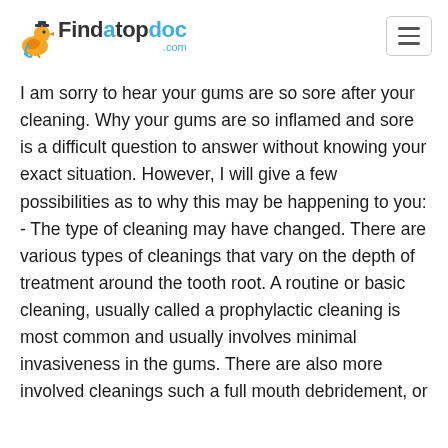Findatopdoc.com
I am sorry to hear your gums are so sore after your cleaning. Why your gums are so inflamed and sore is a difficult question to answer without knowing your exact situation. However, I will give a few possibilities as to why this may be happening to you:
- The type of cleaning may have changed. There are various types of cleanings that vary on the depth of treatment around the tooth root. A routine or basic cleaning, usually called a prophylactic cleaning is most common and usually involves minimal invasiveness in the gums. There are also more involved cleanings such a full mouth debridement, or